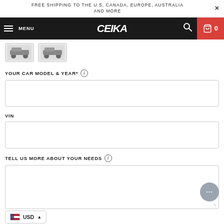FREE SHIPPING TO THE U.S, CANADA, EUROPE, AUSTRALIA AND MORE
MENU | CEIKA | 0
[Figure (screenshot): Two small thumbnail images of car brake/suspension components]
YOUR CAR MODEL & YEAR* ℹ
VIN
TELL US MORE ABOUT YOUR NEEDS ℹ
USD